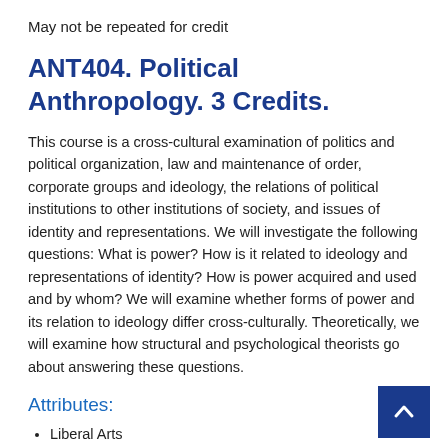May not be repeated for credit
ANT404. Political Anthropology. 3 Credits.
This course is a cross-cultural examination of politics and political organization, law and maintenance of order, corporate groups and ideology, the relations of political institutions to other institutions of society, and issues of identity and representations. We will investigate the following questions: What is power? How is it related to ideology and representations of identity? How is power acquired and used and by whom? We will examine whether forms of power and its relation to ideology differ cross-culturally. Theoretically, we will examine how structural and psychological theorists go about answering these questions.
Attributes:
Liberal Arts